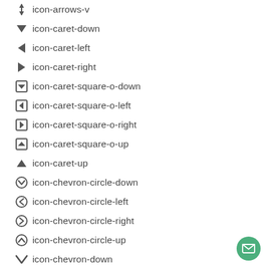icon-arrows-v
icon-caret-down
icon-caret-left
icon-caret-right
icon-caret-square-o-down
icon-caret-square-o-left
icon-caret-square-o-right
icon-caret-square-o-up
icon-caret-up
icon-chevron-circle-down
icon-chevron-circle-left
icon-chevron-circle-right
icon-chevron-circle-up
icon-chevron-down
icon-chevron-left
icon-chevron-right
[Figure (illustration): Green circular floating action button with envelope/mail icon]